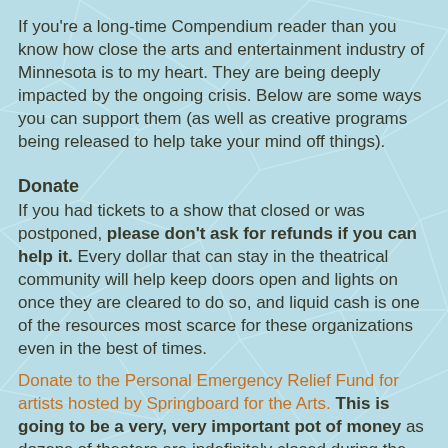If you're a long-time Compendium reader than you know how close the arts and entertainment industry of Minnesota is to my heart. They are being deeply impacted by the ongoing crisis. Below are some ways you can support them (as well as creative programs being released to help take your mind off things).
Donate
If you had tickets to a show that closed or was postponed, please don't ask for refunds if you can help it. Every dollar that can stay in the theatrical community will help keep doors open and lights on once they are cleared to do so, and liquid cash is one of the resources most scarce for these organizations even in the best of times.
Donate to the Personal Emergency Relief Fund for artists hosted by Springboard for the Arts. This is going to be a very, very important pot of money as dozens of theaters are indefinitely closed during the height of their regular season programming, affecting hundreds of artists around the state. If you have any cash, please toss a little their way.